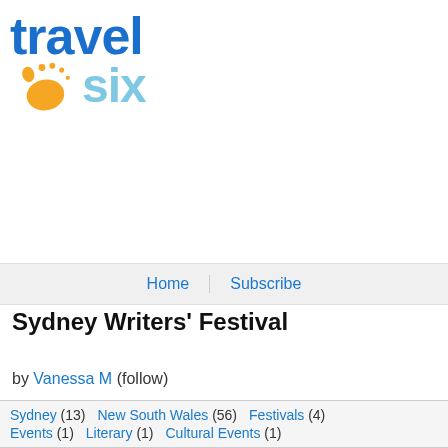[Figure (logo): Travel Six logo with blue bold 'travel' text, orange footprint icon with dots, and light blue bold 'six' text]
Home   Subscribe
Sydney Writers' Festival
by Vanessa M (follow)
Sydney (13)   New South Wales (56)   Festivals (4)   Events (1)   Literary (1)   Cultural Events (1)